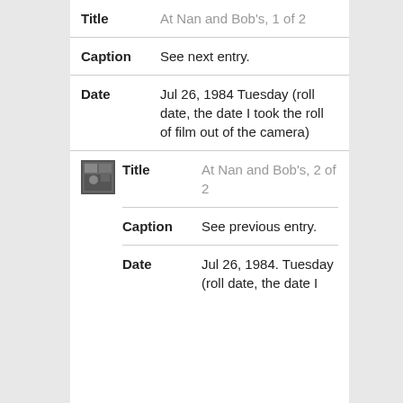| Field | Value |
| --- | --- |
| Title | At Nan and Bob's, 1 of 2 |
| Caption | See next entry. |
| Date | Jul 26, 1984 Tuesday (roll date, the date I took the roll of film out of the camera) |
[Figure (photo): Small black and white thumbnail photograph]
| Field | Value |
| --- | --- |
| Title | At Nan and Bob's, 2 of 2 |
| Caption | See previous entry. |
| Date | Jul 26, 1984. Tuesday (roll date, the date I |